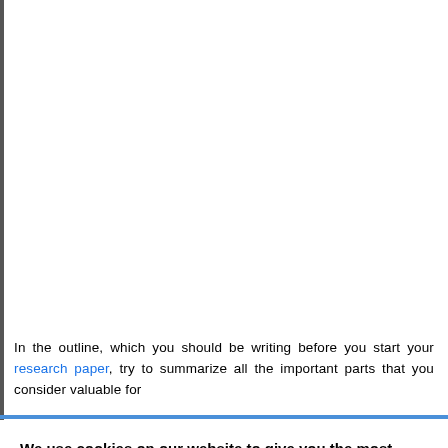In the outline, which you should be writing before you start your research paper, try to summarize all the important parts that you consider valuable for
We use cookies on our website to give you the most relevant experience by remembering your preferences and repeat visits. By clicking “Accept”, you consent to the use of ALL the cookies.
Do not sell my personal information.
Cookie settings
ACCEPT